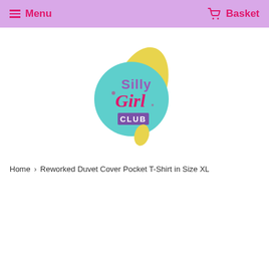Menu  Basket
[Figure (logo): Silly Girl Club logo — circular teal/mint badge with yellow lightning bolt shape behind it, text 'Silly Girl CLUB' in pink and purple lettering]
Home › Reworked Duvet Cover Pocket T-Shirt in Size XL